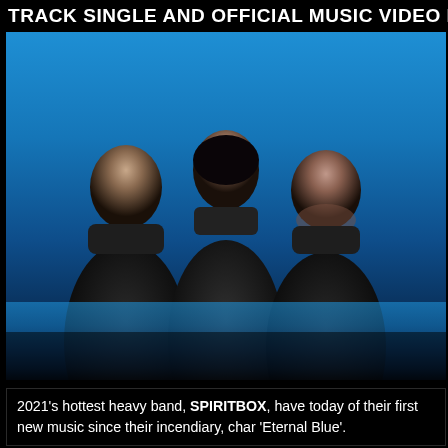TRACK SINGLE AND OFFICIAL MUSIC VIDEO FO
[Figure (photo): Three members of the band Spiritbox posed against a blue-to-dark gradient background, all wearing black. A male member on the left, a female member in the center, and a male member on the right.]
2021's hottest heavy band, SPIRITBOX, have today of their first new music since their incendiary, char 'Eternal Blue'.